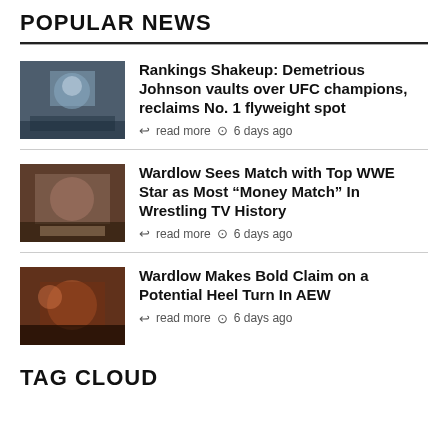POPULAR NEWS
Rankings Shakeup: Demetrious Johnson vaults over UFC champions, reclaims No. 1 flyweight spot — read more — 6 days ago
Wardlow Sees Match with Top WWE Star as Most “Money Match” In Wrestling TV History — read more — 6 days ago
Wardlow Makes Bold Claim on a Potential Heel Turn In AEW — read more — 6 days ago
TAG CLOUD